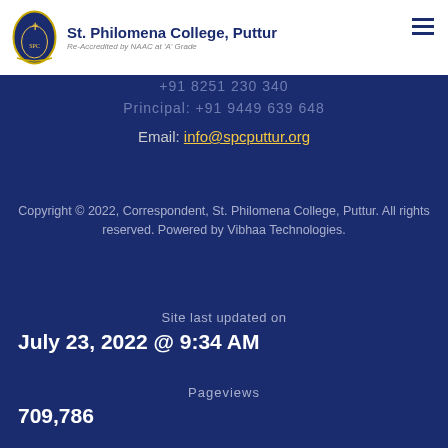St. Philomena College, Puttur — Re-Accredited by NAAC at 'A' Grade
+91 8251 230 340
Principal: +91 9449 639 648
Email: info@spcputtur.org
Copyright © 2022, Correspondent, St. Philomena College, Puttur. All rights reserved. Powered by Vibhaa Technologies.
Site last updated on
July 23, 2022 @ 9:34 AM
Pageviews
709,786